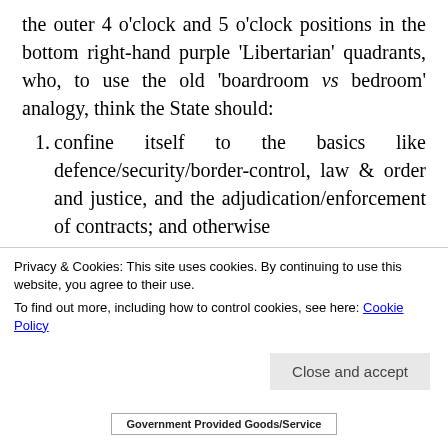the outer 4 o'clock and 5 o'clock positions in the bottom right-hand purple ‘Libertarian’ quadrants, who, to use the old ‘boardroom vs bedroom’ analogy, think the State should:
confine itself to the basics like defence/security/border-control, law & order and justice, and the adjudication/enforcement of contracts; and otherwise
pretty much keep out of both boardroom and bedroom, provided that everything which
Privacy & Cookies: This site uses cookies. By continuing to use this website, you agree to their use.
To find out more, including how to control cookies, see here: Cookie Policy
Close and accept
Government Provided Goods/Service